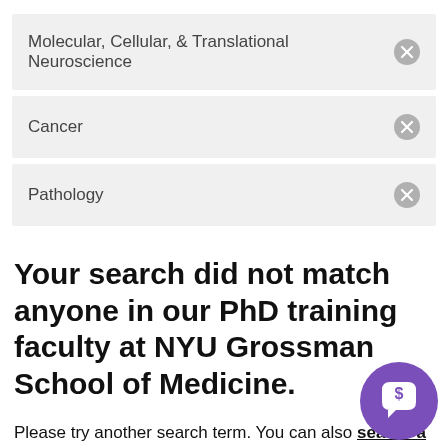Molecular, Cellular, & Translational Neuroscience
Cancer
Pathology
Your search did not match anyone in our PhD training faculty at NYU Grossman School of Medicine.
Please try another search term. You can also search a complete list of training faculty, search all of our NYU Grossman School of Medicine faculty or browse our departments